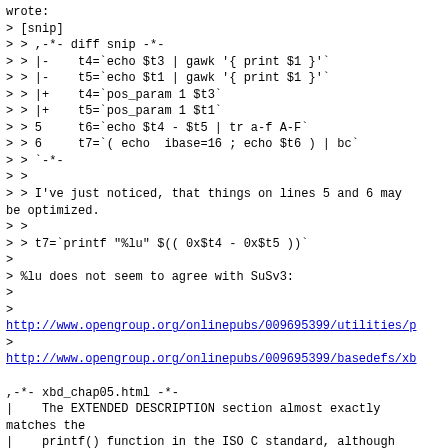wrote:
> [snip]
> > ,-*- diff snip -*-
> > |-    t4=`echo $t3 | gawk '{ print $1 }'`
> > |-    t5=`echo $t1 | gawk '{ print $1 }'`
> > |+    t4=`pos_param 1 $t3`
> > |+    t5=`pos_param 1 $t1`
> > 5     t6=`echo $t4 - $t5 | tr a-f A-F`
> > 6     t7=`( echo  ibase=16 ; echo $t6 ) | bc`
> > `-*-
> >
> > I've just noticed, that things on lines 5 and 6 may be optimized.
> >
> > t7=`printf "%lu" $(( 0x$t4 - 0x$t5 ))`
>
> %lu does not seem to agree with SuSv3:
>
>
http://www.opengroup.org/onlinepubs/009695399/utilities/p
>
http://www.opengroup.org/onlinepubs/009695399/basedefs/xb

,-*- xbd_chap05.html -*-
|    The EXTENDED DESCRIPTION section almost exactly matches the
|    printf() function in the ISO C standard, although it is described
|    in terms of the file format notation in the Base Definitions volume